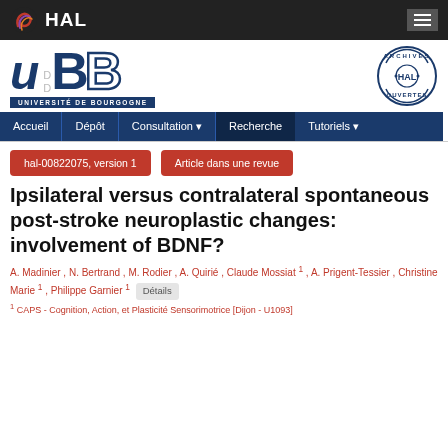HAL
[Figure (logo): Université de Bourgogne logo with stylized uB letters and 'UNIVERSITÉ DE BOURGOGNE' text. HAL Archives Ouvertes circular badge on the right.]
Accueil | Dépôt | Consultation | Recherche | Tutoriels
hal-00822075, version 1 | Article dans une revue
Ipsilateral versus contralateral spontaneous post-stroke neuroplastic changes: involvement of BDNF?
A. Madinier , N. Bertrand , M. Rodier , A. Quirié , Claude Mossiat ¹ , A. Prigent-Tessier , Christine Marie ¹ , Philippe Garnier ¹  Détails
¹ CAPS - Cognition, Action, et Plasticité Sensorimotrice [Dijon - U1093]